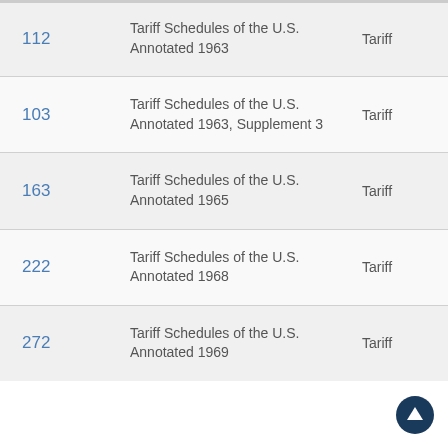| ID | Title | Type |
| --- | --- | --- |
| 112 | Tariff Schedules of the U.S. Annotated 1963 | Tariff |
| 103 | Tariff Schedules of the U.S. Annotated 1963, Supplement 3 | Tariff |
| 163 | Tariff Schedules of the U.S. Annotated 1965 | Tariff |
| 222 | Tariff Schedules of the U.S. Annotated 1968 | Tariff |
| 272 | Tariff Schedules of the U.S. Annotated 1969 | Tariff |